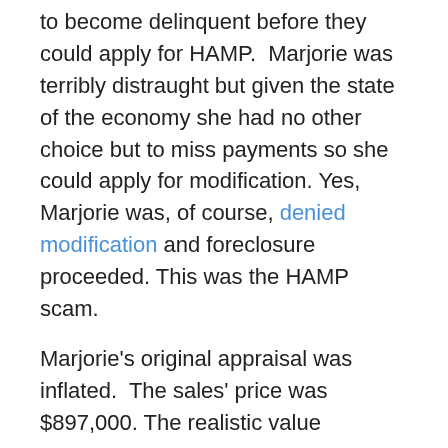to become delinquent before they could apply for HAMP. Marjorie was terribly distraught but given the state of the economy she had no other choice but to miss payments so she could apply for modification. Yes, Marjorie was, of course, denied modification and foreclosure proceeded. This was the HAMP scam.
Marjorie's original appraisal was inflated. The sales' price was $897,000. The realistic value
[Figure (photo): Photo of gold coins stacked in piles next to a small white model house with blue trim, on a yellow background — representing real estate and money.]
is about $600,000. Her mortgage is $595,000. She has